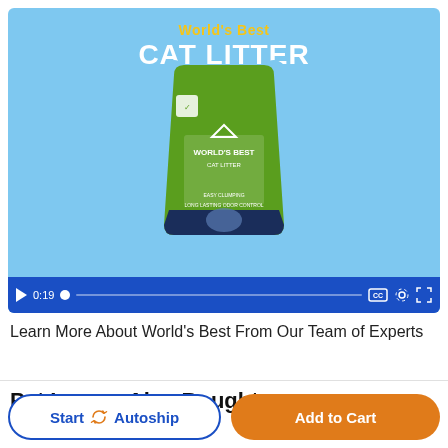[Figure (screenshot): Video player showing World's Best Cat Litter product with a green bag on a light blue background. Controls bar at bottom shows play button, timestamp 0:19, progress bar, CC, settings, and fullscreen icons.]
Learn More About World's Best From Our Team of Experts
Pet Lovers Also Bought
Start Autoship | Add to Cart